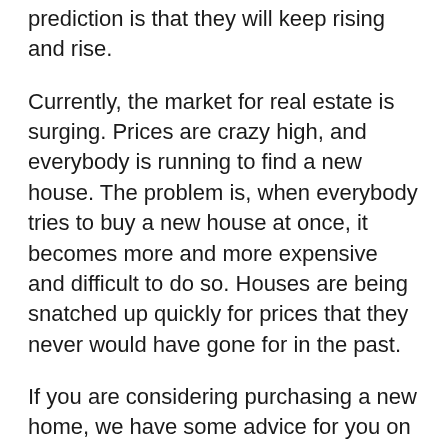prediction is that they will keep rising and rise.
Currently, the market for real estate is surging. Prices are crazy high, and everybody is running to find a new house. The problem is, when everybody tries to buy a new house at once, it becomes more and more expensive and difficult to do so. Houses are being snatched up quickly for prices that they never would have gone for in the past.
If you are considering purchasing a new home, we have some advice for you on the subject. The truth is, investing in a new house right now will be pretty costly, and might not make as much sense as you would like it to.
So, if you are looking to invest your